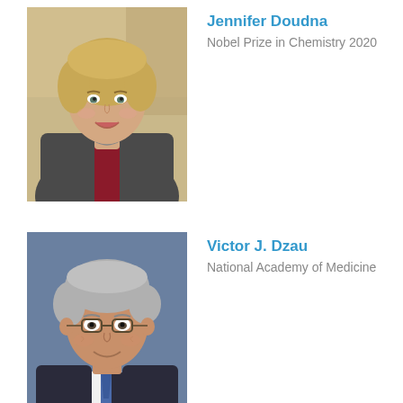[Figure (photo): Professional portrait photo of Jennifer Doudna, a woman with short blonde hair wearing a dark blazer and red top, smiling, with a laboratory background.]
Jennifer Doudna
Nobel Prize in Chemistry 2020
[Figure (photo): Professional portrait photo of Victor J. Dzau, an older Asian man with gray hair wearing glasses and a suit with blue tie, smiling.]
Victor J. Dzau
National Academy of Medicine